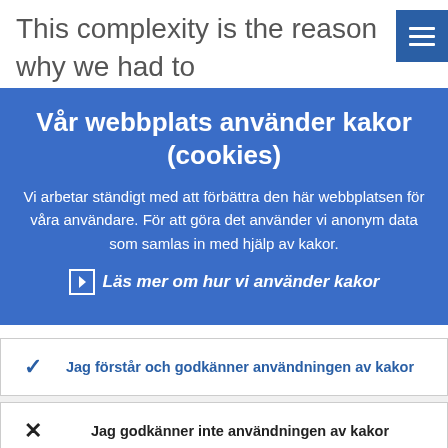This complexity is the reason why we had to develop a specific governance structure to
[Figure (screenshot): Hamburger menu icon (three horizontal lines) on blue background in top right corner]
Vår webbplats använder kakor (cookies)
Vi arbetar ständigt med att förbättra den här webbplatsen för våra användare. För att göra det använder vi anonym data som samlas in med hjälp av kakor.
› Läs mer om hur vi använder kakor
Jag förstår och godkänner användningen av kakor
Jag godkänner inte användningen av kakor